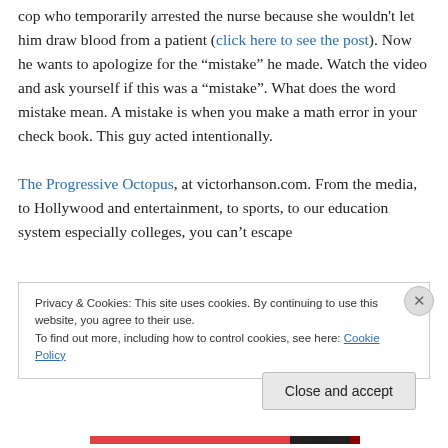cop who temporarily arrested the nurse because she wouldn't let him draw blood from a patient (click here to see the post). Now he wants to apologize for the "mistake" he made. Watch the video and ask yourself if this was a "mistake". What does the word mistake mean. A mistake is when you make a math error in your check book. This guy acted intentionally.
The Progressive Octopus, at victorhanson.com. From the media, to Hollywood and entertainment, to sports, to our education system especially colleges, you can't escape
Privacy & Cookies: This site uses cookies. By continuing to use this website, you agree to their use. To find out more, including how to control cookies, see here: Cookie Policy
Close and accept